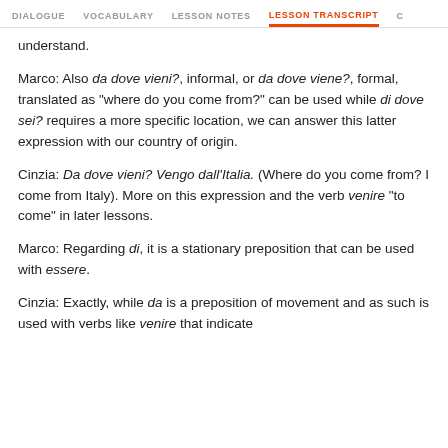DIALOGUE   VOCABULARY   LESSON NOTES   LESSON TRANSCRIPT   C
understand.
Marco: Also da dove vieni?, informal, or da dove viene?, formal, translated as "where do you come from?" can be used while di dove sei? requires a more specific location, we can answer this latter expression with our country of origin.
Cinzia: Da dove vieni? Vengo dall'Italia. (Where do you come from? I come from Italy). More on this expression and the verb venire "to come" in later lessons.
Marco: Regarding di, it is a stationary preposition that can be used with essere.
Cinzia: Exactly, while da is a preposition of movement and as such is used with verbs like venire that indicate